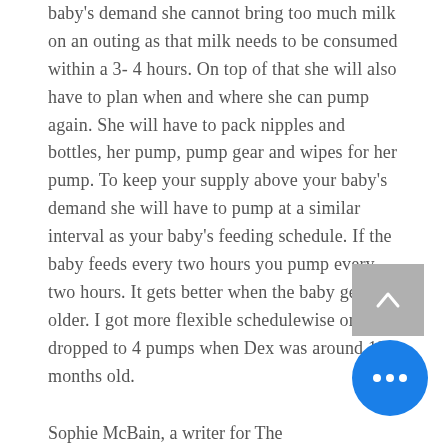baby's demand she cannot bring too much milk on an outing as that milk needs to be consumed within a 3- 4 hours. On top of that she will also have to plan when and where she can pump again. She will have to pack nipples and bottles, her pump, pump gear and wipes for her pump. To keep your supply above your baby's demand she will have to pump at a similar interval as your baby's feeding schedule. If the baby feeds every two hours you pump every two hours. It gets better when the baby gets older. I got more flexible schedulewise once I dropped to 4 pumps when Dex was around 12 months old.
Sophie McBain, a writer for The